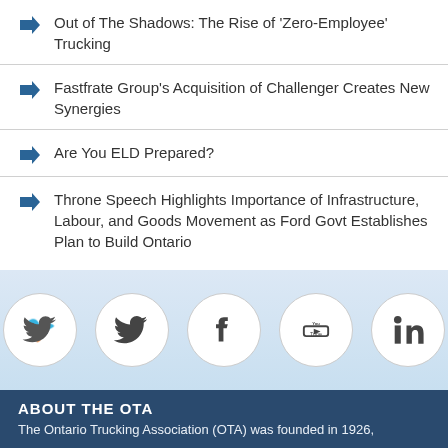Out of The Shadows: The Rise of 'Zero-Employee' Trucking
Fastfrate Group's Acquisition of Challenger Creates New Synergies
Are You ELD Prepared?
Throne Speech Highlights Importance of Infrastructure, Labour, and Goods Movement as Ford Govt Establishes Plan to Build Ontario
[Figure (infographic): Social media icons for Twitter, Facebook, YouTube, and LinkedIn displayed as circular buttons on a light blue gradient background.]
ABOUT THE OTA
The Ontario Trucking Association (OTA) was founded in 1926, and provides services and leading direction as a f…trucking